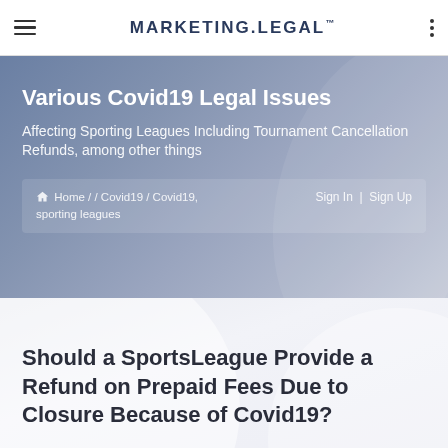MARKETING.LEGAL™
Various Covid19 Legal Issues
Affecting Sporting Leagues Including Tournament Cancellation Refunds, among other things
Home / / Covid19 / Covid19, sporting leagues    Sign In  |  Sign Up
Should a SportsLeague Provide a Refund on Prepaid Fees Due to Closure Because of Covid19?